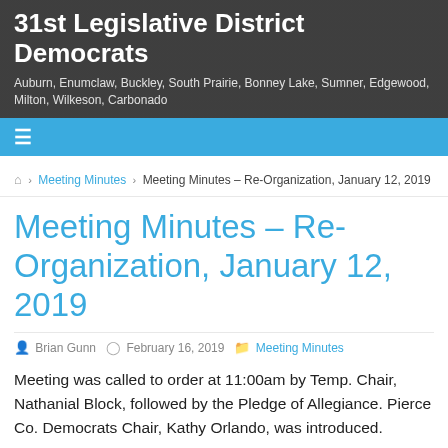31st Legislative District Democrats
Auburn, Enumclaw, Buckley, South Prairie, Bonney Lake, Sumner, Edgewood, Milton, Wilkeson, Carbonado
≡
🏠 › Meeting Minutes › Meeting Minutes – Re-Organization, January 12, 2019
Meeting Minutes – Re-Organization, January 12, 2019
Brian Gunn  February 16, 2019  Meeting Minutes
Meeting was called to order at 11:00am by Temp. Chair, Nathanial Block, followed by the Pledge of Allegiance. Pierce Co. Democrats Chair, Kathy Orlando, was introduced.